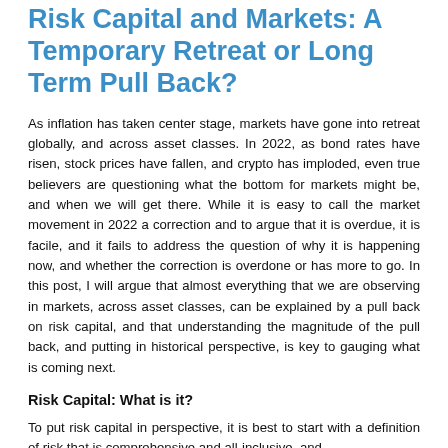Risk Capital and Markets: A Temporary Retreat or Long Term Pull Back?
As inflation has taken center stage, markets have gone into retreat globally, and across asset classes. In 2022, as bond rates have risen, stock prices have fallen, and crypto has imploded, even true believers are questioning what the bottom for markets might be, and when we will get there. While it is easy to call the market movement in 2022 a correction and to argue that it is overdue, it is facile, and it fails to address the question of why it is happening now, and whether the correction is overdone or has more to go. In this post, I will argue that almost everything that we are observing in markets, across asset classes, can be explained by a pull back on risk capital, and that understanding the magnitude of the pull back, and putting in historical perspective, is key to gauging what is coming next.
Risk Capital: What is it?
To put risk capital in perspective, it is best to start with a definition of risk that is comprehensive and all-inclusive, and